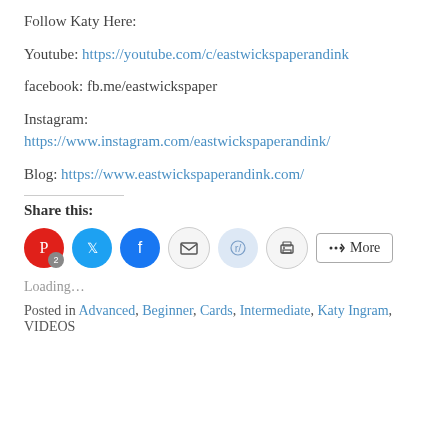Follow Katy Here:
Youtube: https://youtube.com/c/eastwickspaperandink
facebook: fb.me/eastwickspaper
Instagram:
https://www.instagram.com/eastwickspaperandink/
Blog: https://www.eastwickspaperandink.com/
Share this:
Loading...
Posted in Advanced, Beginner, Cards, Intermediate, Katy Ingram, VIDEOS